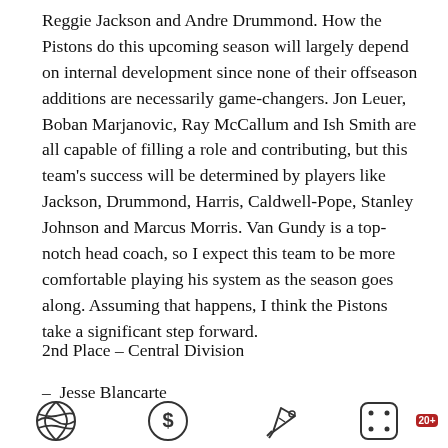Reggie Jackson and Andre Drummond. How the Pistons do this upcoming season will largely depend on internal development since none of their offseason additions are necessarily game-changers. Jon Leuer, Boban Marjanovic, Ray McCallum and Ish Smith are all capable of filling a role and contributing, but this team's success will be determined by players like Jackson, Drummond, Harris, Caldwell-Pope, Stanley Johnson and Marcus Morris. Van Gundy is a top-notch head coach, so I expect this team to be more comfortable playing his system as the season goes along. Assuming that happens, I think the Pistons take a significant step forward.
2nd Place – Central Division
– Jesse Blancarte
[Figure (illustration): Four icons in a row: NBA Live Betting (basketball icon), Promo Codes (dollar circle icon), Betting Apps (rocket icon), New Casinos (dice icon with 20+ badge)]